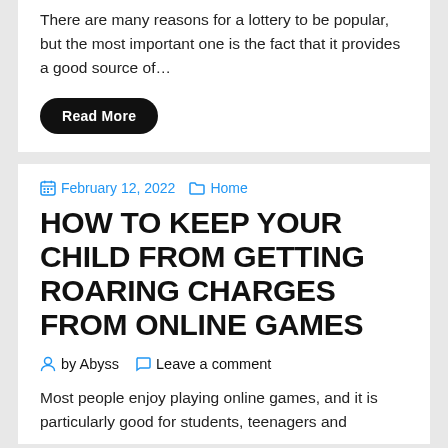There are many reasons for a lottery to be popular, but the most important one is the fact that it provides a good source of…
Read More
February 12, 2022   Home
HOW TO KEEP YOUR CHILD FROM GETTING ROARING CHARGES FROM ONLINE GAMES
by Abyss   Leave a comment
Most people enjoy playing online games, and it is particularly good for students, teenagers and